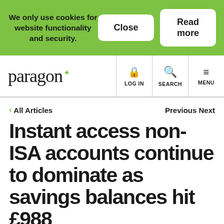We only use cookies for website functionality and security.
Close
Read more
[Figure (logo): Paragon bank logo with green star accent]
LOG IN
SEARCH
MENU
< All Articles
Previous Next
Instant access non-ISA accounts continue to dominate as savings balances hit £988